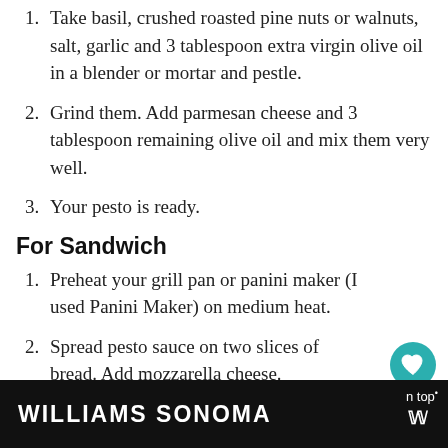Take basil, crushed roasted pine nuts or walnuts, salt, garlic and 3 tablespoon extra virgin olive oil in a blender or mortar and pestle.
Grind them. Add parmesan cheese and 3 tablespoon remaining olive oil and mix them very well.
Your pesto is ready.
For Sandwich
Preheat your grill pan or panini maker (I used Panini Maker) on medium heat.
Spread pesto sauce on two slices of bread. Add mozzarella cheese.
Add tomato slices on one slice of bread.
[Figure (screenshot): Williams Sonoma advertisement banner at the bottom of the page with logo text and partial image]
[Figure (infographic): Heart/like button (teal circle with heart icon), count 527, and share button overlay on right side]
[Figure (infographic): What's Next panel showing Veggie Grilled Sandwich with thumbnail image]